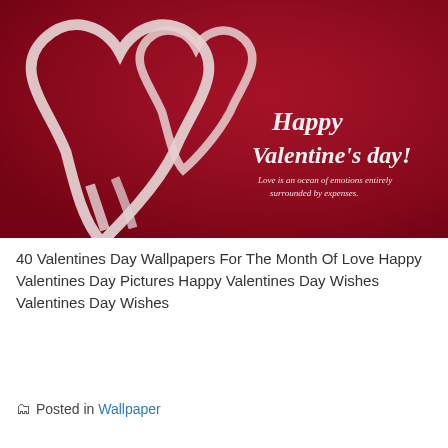[Figure (photo): Valentine's Day wallpaper with deep red background, two overlapping paper hearts made from ribbon/strip, with white cursive text reading 'Happy Valentine's day! Love is an ocean of emotions entirely surrounded by expenses.']
40 Valentines Day Wallpapers For The Month Of Love Happy Valentines Day Pictures Happy Valentines Day Wishes Valentines Day Wishes
Posted in Wallpaper